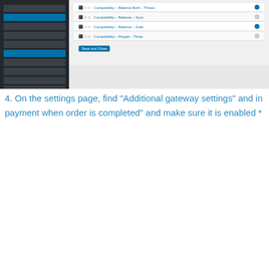[Figure (screenshot): WordPress WooCommerce admin screenshot showing a table of payment gateway settings with toggle switches and a Save Changes button]
4. On the settings page, find "Additional gateway settings" and in payment when order is completed" and make sure it is enabled *
[Figure (screenshot): WordPress WooCommerce admin settings page screenshot showing gateway configuration options including 'More seamless transitions' and 'Void pending sale when order is completed' highlighted with red boxes]